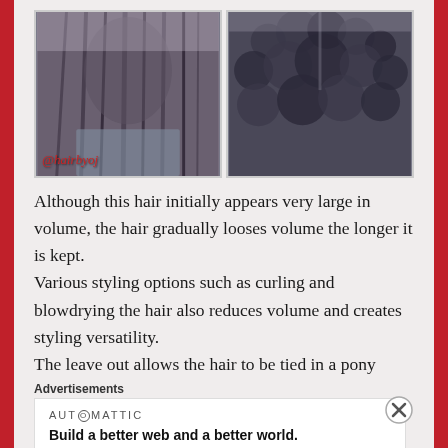[Figure (photo): Two side-by-side photos of natural black hair. Left photo shows long stretched/blown out natural hair from behind with a watermark '@hairbyoj'. Right photo shows a close-up of very voluminous, tightly coiled natural hair from behind.]
Although this hair initially appears very large in volume, the hair gradually looses volume the longer it is kept.
Various styling options such as curling and blowdrying the hair also reduces volume and creates styling versatility.
The leave out allows the hair to be tied in a pony
Advertisements
[Figure (infographic): Automattic advertisement: 'Build a better web and a better world.']